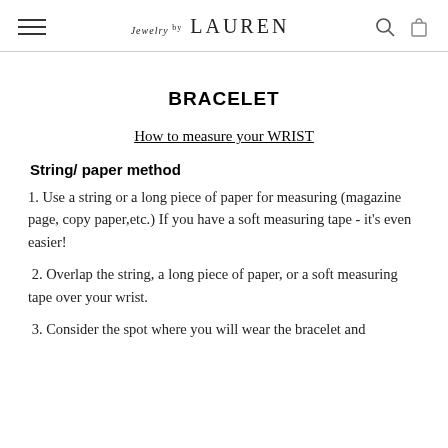Jewelry by LAUREN
BRACELET
How to measure your WRIST
String/ paper method
1. Use a string or a long piece of paper for measuring (magazine page, copy paper,etc.) If you have a soft measuring tape - it's even easier!
2. Overlap the string, a long piece of paper, or a soft measuring tape over your wrist.
3. Consider the spot where you will wear the bracelet and